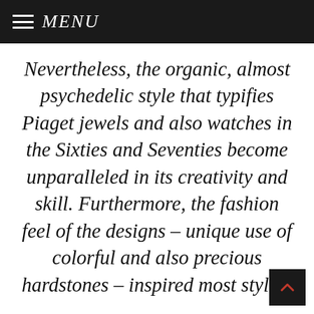MENU
Nevertheless, the organic, almost psychedelic style that typifies Piaget jewels and also watches in the Sixties and Seventies become unparalleled in its creativity and skill. Furthermore, the fashion feel of the designs – unique use of colorful and also precious hardstones – inspired most stylish